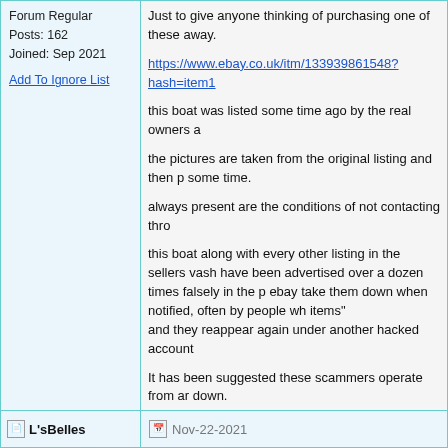Forum Regular
Posts: 162
Joined: Sep 2021
Add To Ignore List
Just to give anyone thinking of purchasing one of these away.

https://www.ebay.co.uk/itm/133939861548?hash=item1

this boat was listed some time ago by the real owners a

the pictures are taken from the original listing and then p some time.

always present are the conditions of not contacting thro

this boat along with every other listing in the sellers vash have been advertised over a dozen times falsely in the p ebay take them down when notified, often by people wh items"
and they reappear again under another hacked account

It has been suggested these scammers operate from ar down.

caveat emptor.
ps, the listing may be removed by ebay by the time you account.
my appearance is down to me, my attitude is down to yo
L'sBelles
Nov-22-2021